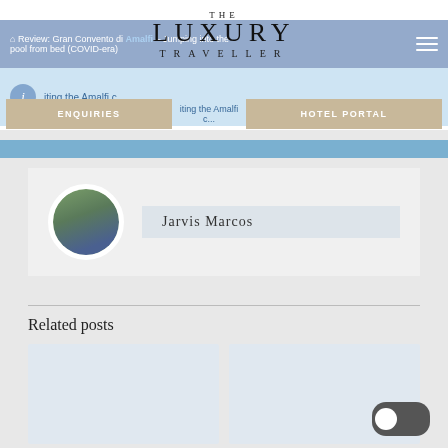THE LUXURY TRAVELLER
Home / Review: Gran Convento di Amalfi – Jumping into the pool from bed (COVID-era)
i  visiting the Amalfi c...
ENQUIRIES
HOTEL PORTAL
Jarvis Marcos
Related posts